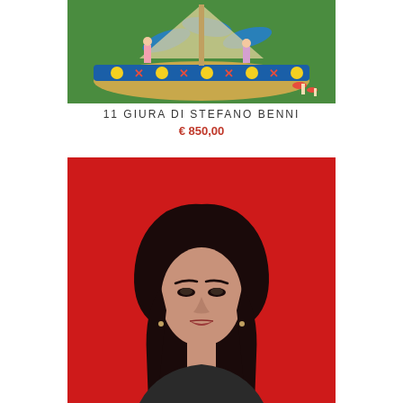[Figure (illustration): Painting of a colorful carousel with blue dolphins, decorated with blue, yellow and red geometric patterns on a green grass background with red mushrooms]
11 GIURA DI STEFANO BENNI
€ 850,00
[Figure (photo): Portrait photo of a dark-haired woman in front of a bright red background]